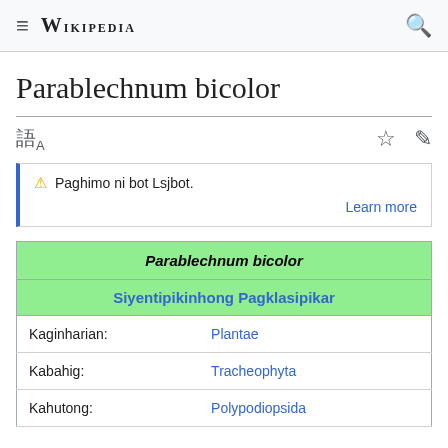≡ WIKIPEDIA 🔍
Parablechnum bicolor
🔔 Paghimo ni bot Lsjbot. Learn more
| Parablechnum bicolor |
| --- |
| Siyentipikinhong Pagklasipikar |
| Kaginharian: | Plantae |
| Kabahig: | Tracheophyta |
| Kahutong: | Polypodiopsida |